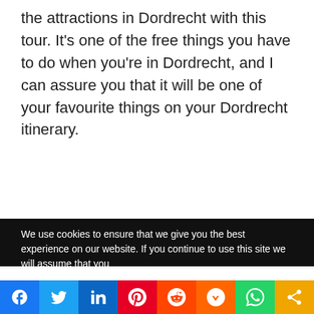the attractions in Dordrecht with this tour. It's one of the free things you have to do when you're in Dordrecht, and I can assure you that it will be one of your favourite things on your Dordrecht itinerary.
We use cookies to ensure that we give you the best experience on our website. If you continue to use this site we will assume that you
[Figure (other): Social media sharing bar with icons for Facebook, Twitter, LinkedIn, Pinterest, Reddit, Mix, WhatsApp, and Share]